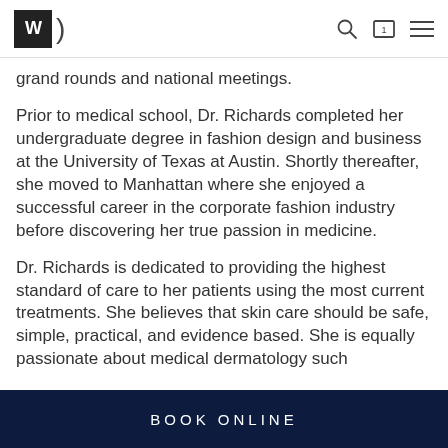WD [logo] — navigation icons
grand rounds and national meetings.
Prior to medical school, Dr. Richards completed her undergraduate degree in fashion design and business at the University of Texas at Austin. Shortly thereafter, she moved to Manhattan where she enjoyed a successful career in the corporate fashion industry before discovering her true passion in medicine.
Dr. Richards is dedicated to providing the highest standard of care to her patients using the most current treatments. She believes that skin care should be safe, simple, practical, and evidence based. She is equally passionate about medical dermatology such
BOOK ONLINE